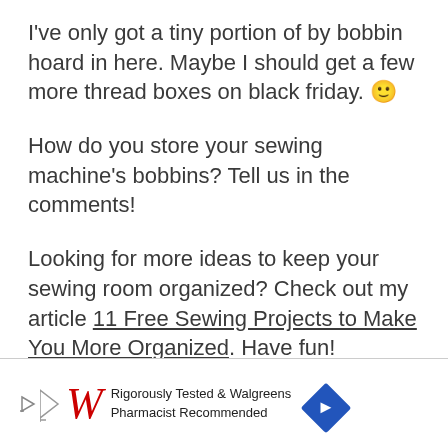I've only got a tiny portion of by bobbin hoard in here. Maybe I should get a few more thread boxes on black friday. 🙂
How do you store your sewing machine's bobbins? Tell us in the comments!
Looking for more ideas to keep your sewing room organized? Check out my article 11 Free Sewing Projects to Make You More Organized. Have fun!
[Figure (other): Walgreens advertisement banner: Rigorously Tested & Walgreens Pharmacist Recommended]